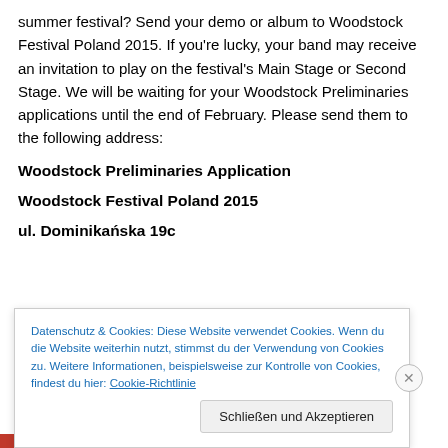summer festival? Send your demo or album to Woodstock Festival Poland 2015. If you're lucky, your band may receive an invitation to play on the festival's Main Stage or Second Stage. We will be waiting for your Woodstock Preliminaries applications until the end of February. Please send them to the following address:
Woodstock Preliminaries Application
Woodstock Festival Poland 2015
ul. Dominikańska 19c
Datenschutz & Cookies: Diese Website verwendet Cookies. Wenn du die Website weiterhin nutzt, stimmst du der Verwendung von Cookies zu. Weitere Informationen, beispielsweise zur Kontrolle von Cookies, findest du hier: Cookie-Richtlinie
Schließen und Akzeptieren